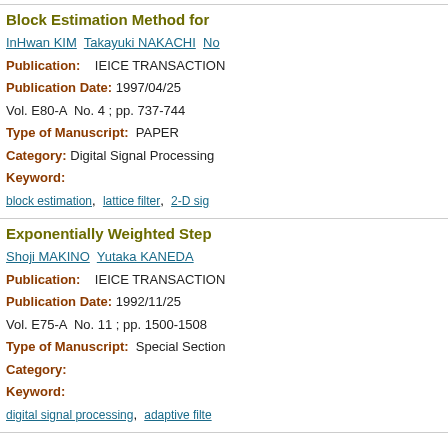Block Estimation Method for...
InHwan KIM  Takayuki NAKACHI  No...
Publication:   IEICE TRANSACTION
Publication Date: 1997/04/25
Vol. E80-A  No. 4 ; pp. 737-744
Type of Manuscript:  PAPER
Category:  Digital Signal Processing
Keyword:
block estimation,  lattice filter,  2-D sig...
Exponentially Weighted Step...
Shoji MAKINO  Yutaka KANEDA
Publication:   IEICE TRANSACTION
Publication Date: 1992/11/25
Vol. E75-A  No. 11 ; pp. 1500-1508
Type of Manuscript:  Special Section...
Category:
Keyword:
digital signal processing,  adaptive filte...